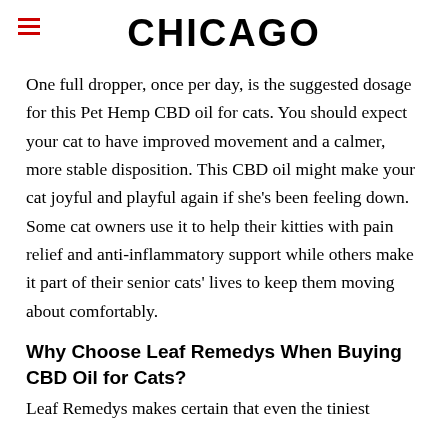CHICAGO
One full dropper, once per day, is the suggested dosage for this Pet Hemp CBD oil for cats. You should expect your cat to have improved movement and a calmer, more stable disposition. This CBD oil might make your cat joyful and playful again if she's been feeling down. Some cat owners use it to help their kitties with pain relief and anti-inflammatory support while others make it part of their senior cats' lives to keep them moving about comfortably.
Why Choose Leaf Remedys When Buying CBD Oil for Cats?
Leaf Remedys makes certain that even the tiniest